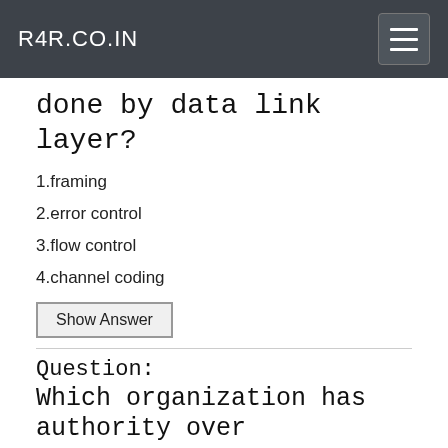R4R.CO.IN
done by data link layer?
1.framing
2.error control
3.flow control
4.channel coding
Show Answer
Question:
Which organization has authority over